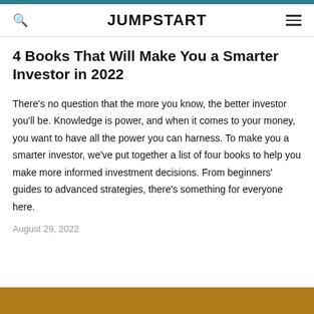JUMPSTART
4 Books That Will Make You a Smarter Investor in 2022
There's no question that the more you know, the better investor you'll be. Knowledge is power, and when it comes to your money, you want to have all the power you can harness. To make you a smarter investor, we've put together a list of four books to help you make more informed investment decisions. From beginners' guides to advanced strategies, there's something for everyone here.
August 29, 2022
[Figure (photo): Partial image strip at bottom of page, brownish/warm toned photo]